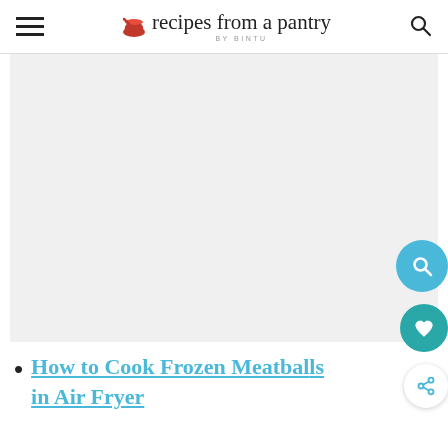recipes from a pantry BY BINTU
[Figure (photo): Large placeholder/blank image area for a recipe photo]
How to Cook Frozen Meatballs in Air Fryer